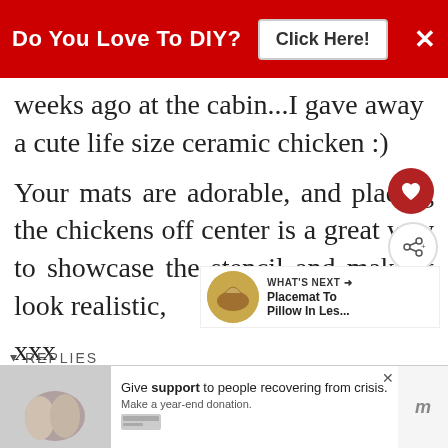[Figure (screenshot): Red banner advertisement: 'Do You Love To DIY? Click Here!' with X close button]
weeks ago at the cabin...I gave away a cute life size ceramic chicken :)
Your mats are adorable, and placing the chickens off center is a great way to showcase the stencil and make it look realistic,
xxx
REPLY DELETE
▾ REPLIES
[Figure (screenshot): WHAT'S NEXT arrow - Placemat To Pillow In Les... widget with circular thumbnail]
Kim
[Figure (screenshot): Bottom advertisement: Give support to people recovering from crisis. Make a year-end donation.]